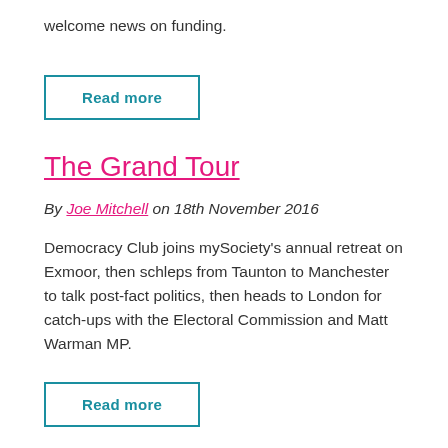welcome news on funding.
Read more
The Grand Tour
By Joe Mitchell on 18th November 2016
Democracy Club joins mySociety's annual retreat on Exmoor, then schleps from Taunton to Manchester to talk post-fact politics, then heads to London for catch-ups with the Electoral Commission and Matt Warman MP.
Read more